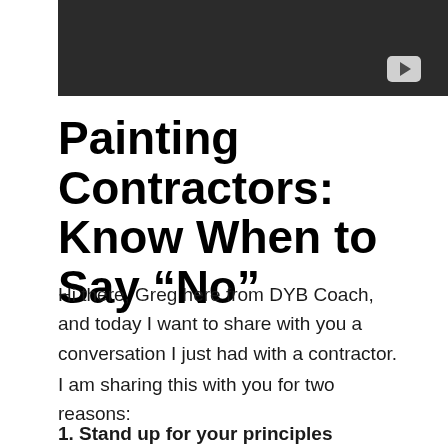[Figure (screenshot): Dark gray/black video thumbnail with a light gray YouTube play button icon in the upper right corner]
Painting Contractors: Know When to Say “No”
Hi there, Greg here from DYB Coach, and today I want to share with you a conversation I just had with a contractor.
I am sharing this with you for two reasons:
1. Stand up for your principles